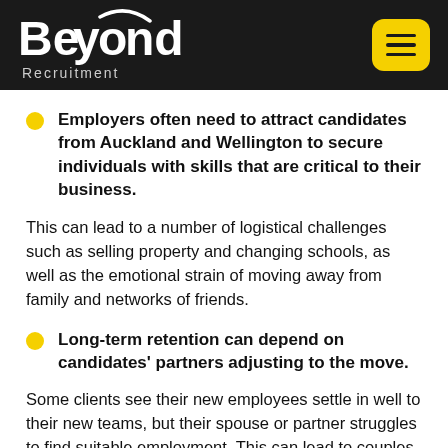Beyond Recruitment
Employers often need to attract candidates from Auckland and Wellington to secure individuals with skills that are critical to their business.
This can lead to a number of logistical challenges such as selling property and changing schools, as well as the emotional strain of moving away from family and networks of friends.
Long-term retention can depend on candidates' partners adjusting to the move.
Some clients see their new employees settle in well to their new teams, but their spouse or partner struggles to find suitable employment. This can lead to couples drifting back to the cities where there are more opportunities for them both.